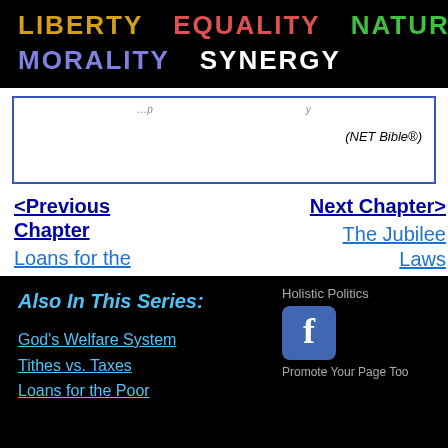LIBERTY  EQUALITY  NATURE  MORALITY  SYNERGY
(NET Bible®)
<Previous Chapter
Loans for the Poor
Next Chapter>
The Jubilee Laws
Also In This Series:
God's Welfare System
Tithes vs. Taxes
Loans for the Poor